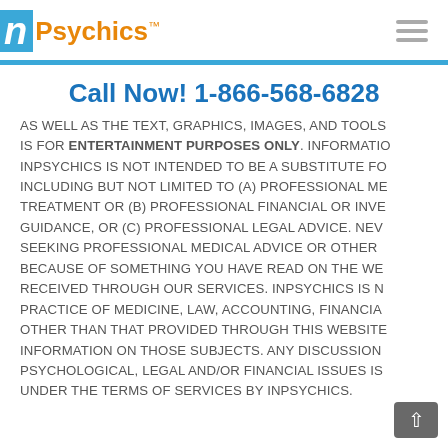inPsychics™
Call Now! 1-866-568-6828
AS WELL AS THE TEXT, GRAPHICS, IMAGES, AND TOOLS IS FOR ENTERTAINMENT PURPOSES ONLY. INFORMATION INPSYCHICS IS NOT INTENDED TO BE A SUBSTITUTE FOR INCLUDING BUT NOT LIMITED TO (A) PROFESSIONAL MEDICAL TREATMENT OR (B) PROFESSIONAL FINANCIAL OR INVESTMENT GUIDANCE, OR (C) PROFESSIONAL LEGAL ADVICE. NEVER DELAY SEEKING PROFESSIONAL MEDICAL ADVICE OR OTHER PROFESSIONAL BECAUSE OF SOMETHING YOU HAVE READ ON THE WEBSITE OR RECEIVED THROUGH OUR SERVICES. INPSYCHICS IS NOT IN THE PRACTICE OF MEDICINE, LAW, ACCOUNTING, FINANCIAL PLANNING OTHER THAN THAT PROVIDED THROUGH THIS WEBSITE. FOR INFORMATION ON THOSE SUBJECTS. ANY DISCUSSION OF PSYCHOLOGICAL, LEGAL AND/OR FINANCIAL ISSUES IS COVERED UNDER THE TERMS OF SERVICES BY INPSYCHICS.